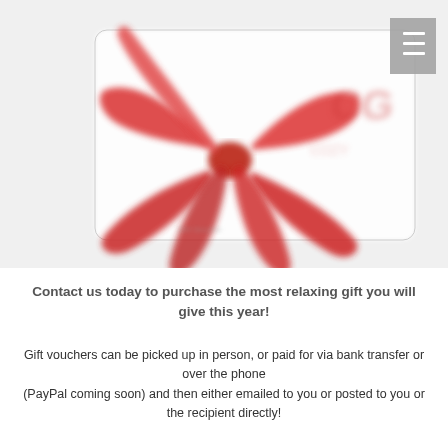[Figure (photo): A blurred gift card with a red decorative bow/ribbon on the left side and a faded logo text on the right, displayed against a light background. A hamburger menu icon appears in the top-right corner.]
Contact us today to purchase the most relaxing gift you will give this year!
Gift vouchers can be picked up in person, or paid for via bank transfer or over the phone
(PayPal coming soon) and then either emailed to you or posted to you or the recipient directly!